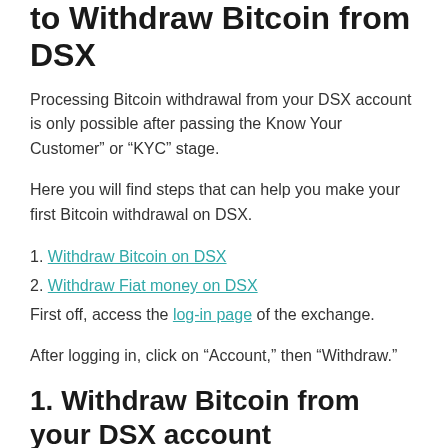to Withdraw Bitcoin from DSX
Processing Bitcoin withdrawal from your DSX account is only possible after passing the Know Your Customer" or "KYC" stage.
Here you will find steps that can help you make your first Bitcoin withdrawal on DSX.
1. Withdraw Bitcoin on DSX
2. Withdraw Fiat money on DSX
First off, access the log-in page of the exchange.
After logging in, click on “Account,” then “Withdraw.”
1. Withdraw Bitcoin from your DSX account
You can follow the same withdrawal process on all available cryptocurrencies on DSX. Remember that DSX